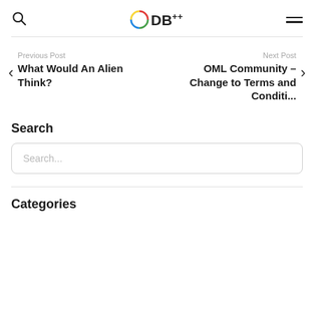ODB++
Previous Post
What Would An Alien Think?
Next Post
OML Community – Change to Terms and Conditi...
Search
Search...
Categories